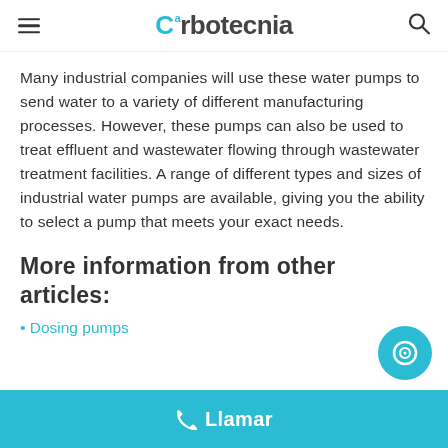Carbotecnia
Many industrial companies will use these water pumps to send water to a variety of different manufacturing processes. However, these pumps can also be used to treat effluent and wastewater flowing through wastewater treatment facilities. A range of different types and sizes of industrial water pumps are available, giving you the ability to select a pump that meets your exact needs.
More information from other articles:
Dosing pumps
Llamar